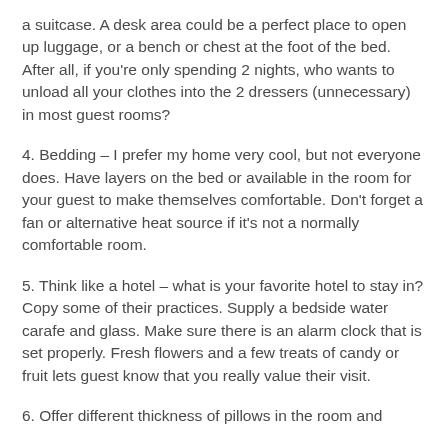a suitcase. A desk area could be a perfect place to open up luggage, or a bench or chest at the foot of the bed. After all, if you're only spending 2 nights, who wants to unload all your clothes into the 2 dressers (unnecessary) in most guest rooms?
4. Bedding – I prefer my home very cool, but not everyone does. Have layers on the bed or available in the room for your guest to make themselves comfortable. Don't forget a fan or alternative heat source if it's not a normally comfortable room.
5. Think like a hotel – what is your favorite hotel to stay in? Copy some of their practices. Supply a bedside water carafe and glass. Make sure there is an alarm clock that is set properly. Fresh flowers and a few treats of candy or fruit lets guest know that you really value their visit.
6. Offer different thickness of pillows in the room and